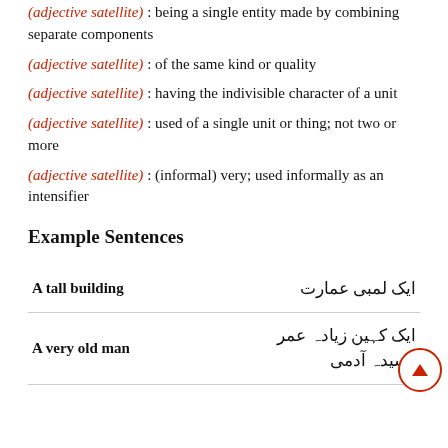(adjective satellite) : being a single entity made by combining separate components
(adjective satellite) : of the same kind or quality
(adjective satellite) : having the indivisible character of a unit
(adjective satellite) : used of a single unit or thing; not two or more
(adjective satellite) : (informal) very; used informally as an intensifier
Example Sentences
| English | Urdu |
| --- | --- |
| A tall building | ایک لمبی عمارت |
| A very old man | ایک کہین زیادہ عمر رسیدہ آدمی |